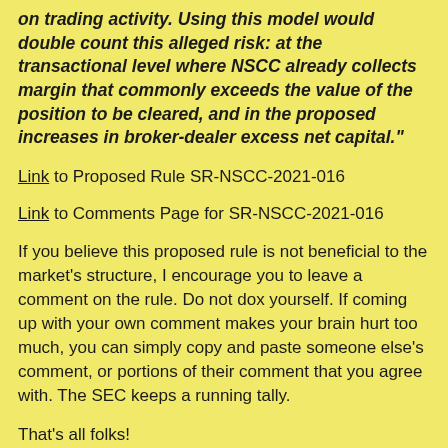on trading activity. Using this model would double count this alleged risk: at the transactional level where NSCC already collects margin that commonly exceeds the value of the position to be cleared, and in the proposed increases in broker-dealer excess net capital."
Link to Proposed Rule SR-NSCC-2021-016
Link to Comments Page for SR-NSCC-2021-016
If you believe this proposed rule is not beneficial to the market's structure, I encourage you to leave a comment on the rule. Do not dox yourself. If coming up with your own comment makes your brain hurt too much, you can simply copy and paste someone else's comment, or portions of their comment that you agree with. The SEC keeps a running tally.
That's all folks!